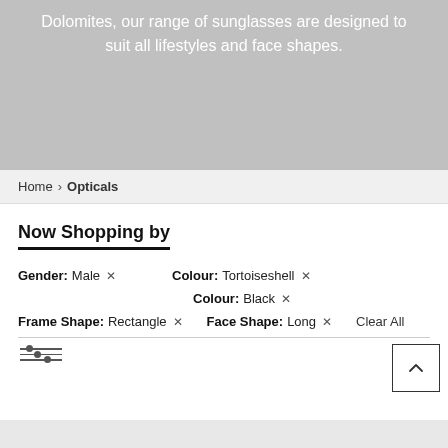Dolomites, our range of sunglasses are designed to suit all lifestyles and face shapes.
Home > Opticals
Now Shopping by
Gender: Male ×
Colour: Tortoiseshell ×
Colour: Black ×
Frame Shape: Rectangle ×
Face Shape: Long ×
Clear All